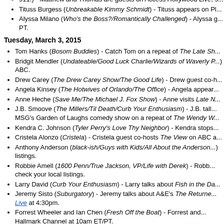911!) - Matthew and Thomas are guests on Access Hollywood Live, S...
Tituss Burgess (Unbreakable Kimmy Schmidt) - Tituss appears on Pl...
Alyssa Milano (Who's the Boss?/Romantically Challenged) - Alyssa g... PT.
Tuesday, March 3, 2015
Tom Hanks (Bosom Buddies) - Catch Tom on a repeat of The Late Sh...
Bridgit Mendler (Undateable/Good Luck Charlie/Wizards of Waverly P... ABC.
Drew Carey (The Drew Carey Show/The Good Life) - Drew guest co-h...
Angela Kinsey (The Hotwives of Orlando/The Office) - Angela appear...
Anne Heche (Save Me/The Michael J. Fox Show) - Anne visits Late N...
J.B. Smoove (The Millers/Til Death/Curb Your Enthusiasm) - J.B. tall... MSG's Garden of Laughs comedy show on a repeat of The Wendy Wi...
Kendra C. Johnson (Tyler Perry's Love Thy Neighbor) - Kendra stops...
Cristela Alonzo (Cristela) - Cristela guest co-hosts The View on ABC a...
Anthony Anderson (black-ish/Guys with Kids/All About the Anderson... listings.
Robbie Amell (1600 Penn/True Jackson, VP/Life with Derek) - Robb... check your local listings.
Larry David (Curb Your Enthusiasm) - Larry talks about Fish in the Da...
Jeremy Sisto (Suburgatory) - Jeremy talks about A&E's The Returne... Live at 4:30pm.
Forrest Wheeler and Ian Chen (Fresh Off the Boat) - Forrest and... Hallmark Channel at 10am ET/PT.
Ming-Na Wen (The Single Guy) - Ming-Na Wen will be on ABC's Goo...
Juliette Lewis (I Married Dora) - Juliette joins the Chew Crew on ABC'...
Molly Ringwald (Townies/The Facts of Life) - Molly talks about The... between 7-9am and in the 9am hour.
Mo'Nique (The Parkers) - Mo'Nique is a guest on Access Hollywood...